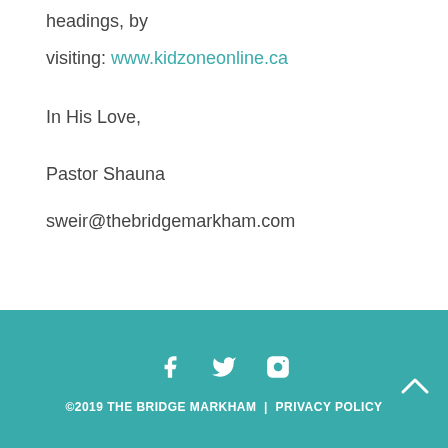headings, by
visiting: www.kidzoneonline.ca
In His Love,
Pastor Shauna
sweir@thebridgemarkham.com
©2019 THE BRIDGE MARKHAM | PRIVACY POLICY